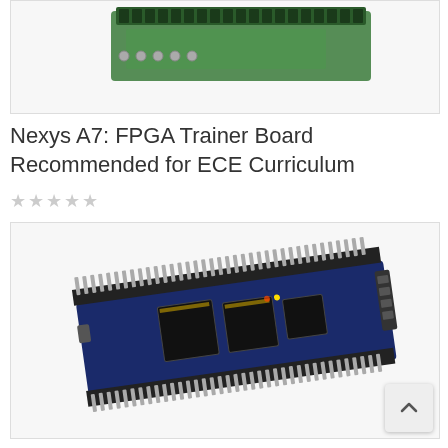[Figure (photo): Top portion of a green FPGA/PCB board with terminal blocks and pin headers, shown at an angle against white background]
Nexys A7: FPGA Trainer Board Recommended for ECE Curriculum
☆☆☆☆☆
[Figure (photo): Blue FPGA development board (small form factor) with USB connector, chips, and dual rows of pin headers, photographed at an angle on white background. A back-to-top arrow button is visible in the bottom-right corner.]